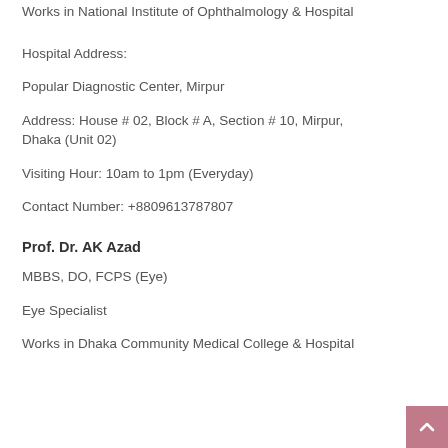Works in National Institute of Ophthalmology & Hospital
Hospital Address:
Popular Diagnostic Center, Mirpur
Address: House # 02, Block # A, Section # 10, Mirpur, Dhaka (Unit 02)
Visiting Hour: 10am to 1pm (Everyday)
Contact Number: +8809613787807
Prof. Dr. AK Azad
MBBS, DO, FCPS (Eye)
Eye Specialist
Works in Dhaka Community Medical College & Hospital